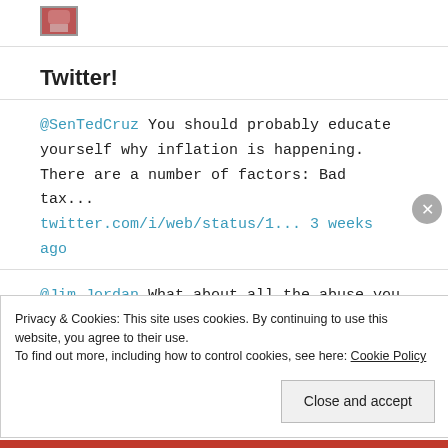[Figure (photo): Small avatar/profile photo thumbnail in top left]
Twitter!
@SenTedCruz You should probably educate yourself why inflation is happening. There are a number of factors: Bad tax... twitter.com/i/web/status/1... 3 weeks ago
@Jim_Jordan What about all the abuse you let go and turned a blind eye to? Was that ok?
Privacy & Cookies: This site uses cookies. By continuing to use this website, you agree to their use.
To find out more, including how to control cookies, see here: Cookie Policy
Close and accept